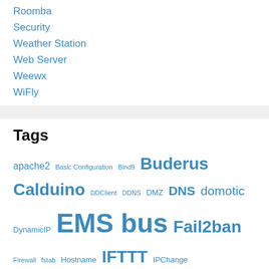Roomba
Security
Weather Station
Web Server
Weewx
WiFly
Tags
apache2 Basic Configuration Bind9 Buderus Calduino DDClient DDNS DMZ DNS domotic DynamicIP EMS bus Fail2ban Firewall fstab Hostname IFTTT IPChange Iptables Named Oregon Scientific PortForwarding power failure privateKey PuTTY RAM raspberry Raspberry Pi raspbian RF RTC SD Card Security service shutdown SSH StaticIP Sudo SWAP upsd User woowx WMR88